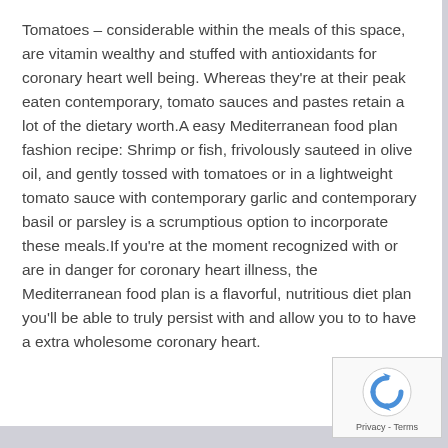Tomatoes – considerable within the meals of this space, are vitamin wealthy and stuffed with antioxidants for coronary heart well being. Whereas they're at their peak eaten contemporary, tomato sauces and pastes retain a lot of the dietary worth.A easy Mediterranean food plan fashion recipe: Shrimp or fish, frivolously sauteed in olive oil, and gently tossed with tomatoes or in a lightweight tomato sauce with contemporary garlic and contemporary basil or parsley is a scrumptious option to incorporate these meals.If you're at the moment recognized with or are in danger for coronary heart illness, the Mediterranean food plan is a flavorful, nutritious diet plan you'll be able to truly persist with and allow you to to have a extra wholesome coronary heart.
[Figure (other): reCAPTCHA widget with rotating arrows icon and Privacy - Terms footer text]